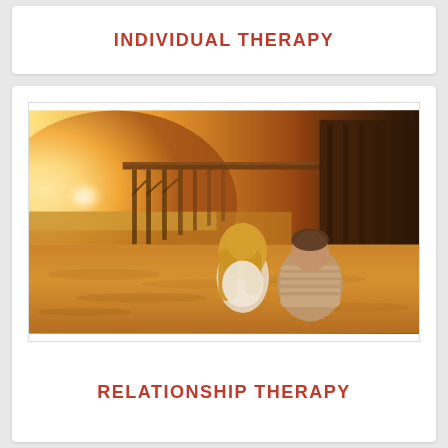INDIVIDUAL THERAPY
[Figure (photo): A couple sitting on a sandy beach with backs to camera, viewing a pier in warm golden sunset light. Woman with long blonde hair in white top on left, man in striped shirt on right.]
RELATIONSHIP THERAPY